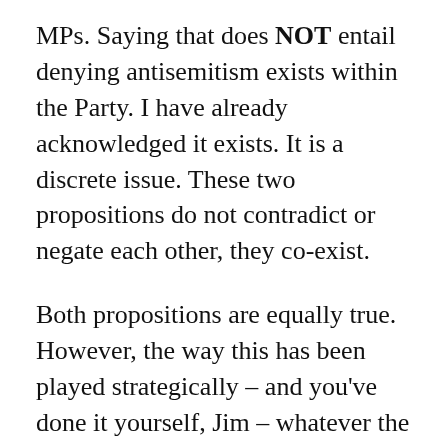MPs. Saying that does NOT entail denying antisemitism exists within the Party. I have already acknowledged it exists. It is a discrete issue. These two propositions do not contradict or negate each other, they co-exist.
Both propositions are equally true. However, the way this has been played strategically – and you've done it yourself, Jim – whatever the response is from the Party and members, it is immediately put into the same contexts of either “denial”, “justification”, “whataboutery” or “trivialising”, and even worse, people are